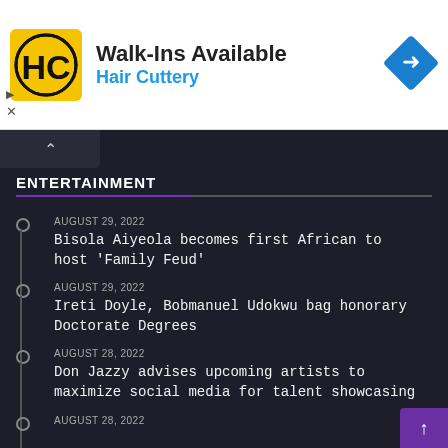[Figure (other): Hair Cuttery advertisement banner with HC logo, 'Walk-Ins Available' text, blue subtitle 'Hair Cuttery', and a blue diamond direction arrow icon]
ENTERTAINMENT
AUGUST 29, 2022
Bisola Aiyeola becomes first African to host ‘Family Feud’
AUGUST 29, 2022
Ireti Doyle, Bobmanuel Udokwu bag honorary Doctorate Degrees
AUGUST 28, 2022
Don Jazzy advises upcoming artists to maximize social media for talent showcasing
AUGUST 28, 2022